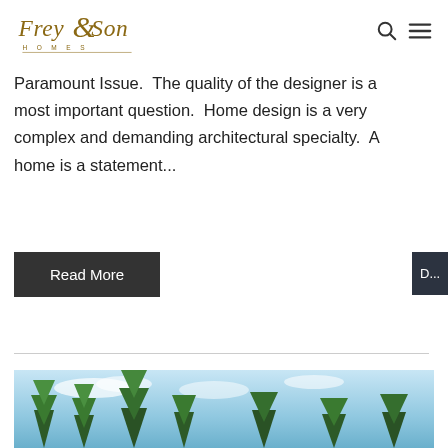[Figure (logo): Frey & Son Homes logo with serif/script typography and navigation icons (search and hamburger menu)]
Paramount Issue.  The quality of the designer is a most important question.  Home design is a very complex and demanding architectural specialty.  A home is a statement...
Read More
[Figure (photo): Outdoor photo showing trees and blue sky at the bottom of the page]